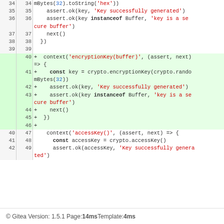[Figure (screenshot): Git diff view showing code changes. Lines 34-39 show unchanged context (toString hex, assert.ok key, assert.ok instanceof Buffer, next(), }). Lines 40-46 are additions (green): context encryptionKey buffer, const key crypto.encryptionKey randomBytes 32, assert.ok key success, assert.ok instanceof Buffer secure buffer, next, }). Lines 40-42/47-49 show unchanged context: context accessKey, const accessKey, assert.ok accessKey Key successfully generated.]
© Gitea Version: 1.5.1 Page: 14ms Template: 4ms